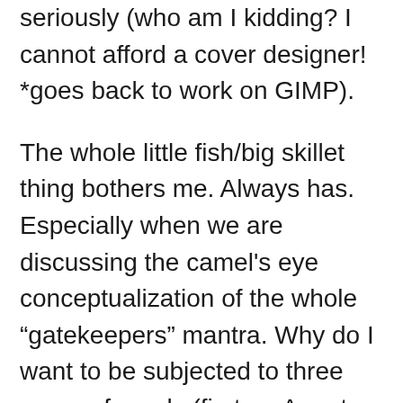seriously (who am I kidding? I cannot afford a cover designer! *goes back to work on GIMP).
The whole little fish/big skillet thing bothers me. Always has. Especially when we are discussing the camel's eye conceptualization of the whole “gatekeepers” mantra. Why do I want to be subjected to three narrow funnels (first an Agent-judge and THEN a Publisher-judge, and then a World-of-Readers-judge)?
I think self-publishing is a personal choice. I just hope that those choosing to publish